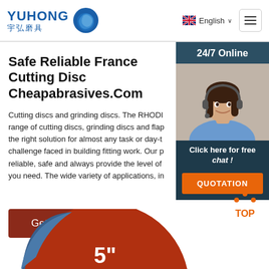YUHONG 宇弘磨具 | English
Safe Reliable France Cutting Disc Cheapabrasives.Com
Cutting discs and grinding discs. The RHODI range of cutting discs, grinding discs and flap the right solution for almost any task or day-t challenge faced in building fitting work. Our p reliable, safe and always provide the level of you need. The wide variety of applications, in
[Figure (photo): Customer service representative woman with headset smiling, with '24/7 Online' header and 'Click here for free chat!' text and orange QUOTATION button]
[Figure (other): Brown button labeled 'Get Price']
[Figure (other): TOP navigation icon with dots above text]
[Figure (photo): Partial view of a 5-inch cutting disc showing red and blue sections with '5"' text]